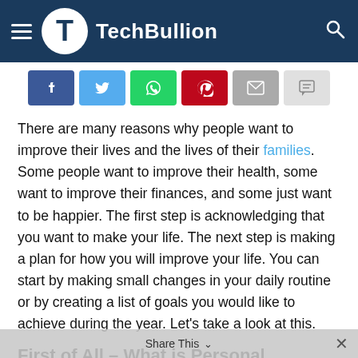TechBullion
[Figure (infographic): Social sharing buttons: Facebook, Twitter, WhatsApp, Pinterest, Email, Comment]
There are many reasons why people want to improve their lives and the lives of their families. Some people want to improve their health, some want to improve their finances, and some just want to be happier. The first step is acknowledging that you want to make your life. The next step is making a plan for how you will improve your life. You can start by making small changes in your daily routine or by creating a list of goals you would like to achieve during the year. Let's take a look at this.
First of All – What is Personal Development?
Personal development is the process of improving your life, your happiness, and your sense of well-being. It is a holistic